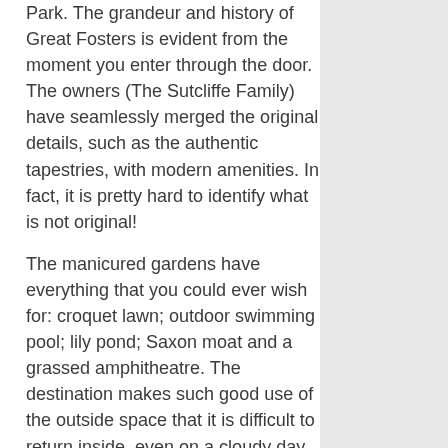Park. The grandeur and history of Great Fosters is evident from the moment you enter through the door. The owners (The Sutcliffe Family) have seamlessly merged the original details, such as the authentic tapestries, with modern amenities. In fact, it is pretty hard to identify what is not original!
The manicured gardens have everything that you could ever wish for: croquet lawn; outdoor swimming pool; lily pond; Saxon moat and a grassed amphitheatre. The destination makes such good use of the outside space that it is difficult to return inside, even on a cloudy day.
[Figure (photo): Garden photo showing a classical female statue on a stone pedestal in a formal garden, with manicured green hedges in the background, a stone urn planter, a wooden garden bench, and a champagne glass on the lawn.]